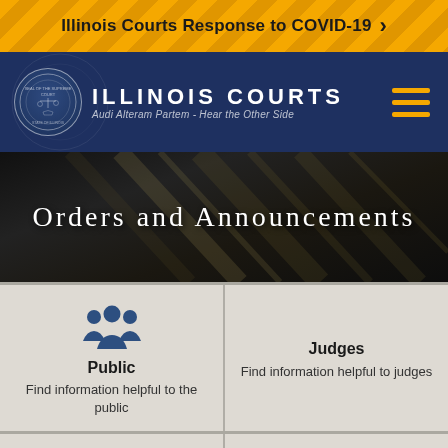Illinois Courts Response to COVID-19
[Figure (logo): Illinois Courts website header with seal, site title ILLINOIS COURTS and tagline Audi Alteram Partem - Hear the Other Side, and hamburger menu icon]
Orders and Announcements
Public
Find information helpful to the public
Judges
Find information helpful to judges
[Figure (infographic): Bottom row partial cards with icons, cut off at page bottom]